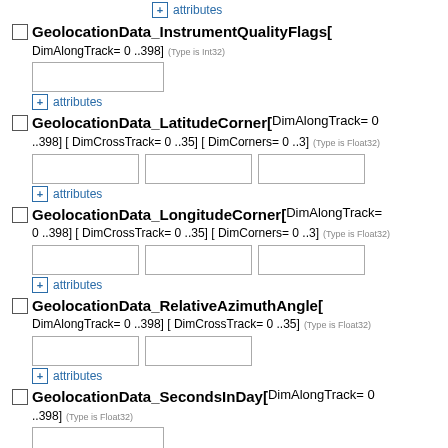+ attributes
GeolocationData_InstrumentQualityFlags[ DimAlongTrack= 0 ..398] (Type is Int32)
+ attributes
GeolocationData_LatitudeCorner[ DimAlongTrack= 0 ..398] [ DimCrossTrack= 0 ..35] [ DimCorners= 0 ..3] (Type is Float32)
+ attributes
GeolocationData_LongitudeCorner[ DimAlongTrack= 0 ..398] [ DimCrossTrack= 0 ..35] [ DimCorners= 0 ..3] (Type is Float32)
+ attributes
GeolocationData_RelativeAzimuthAngle[ DimAlongTrack= 0 ..398] [ DimCrossTrack= 0 ..35] (Type is Float32)
+ attributes
GeolocationData_SecondsInDay[ DimAlongTrack= 0 ..398] (Type is Float32)
+ attributes
GeolocationData_SolarAzimuthAngle[